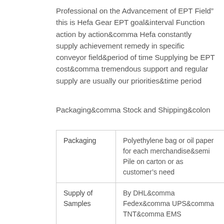Professional on the Advancement of EPT Field” this is Hefa Gear EPT goal&interval Function action by action&comma Hefa constantly supply achievement remedy in specific conveyor field&period of time Supplying be EPT cost&comma tremendous support and regular supply are usually our priorities&time period
Packaging&comma Stock and Shipping&colon
| Packaging | Polyethylene bag or oil paper for each merchandise&semi
Pile on carton or as customer’s need |
| Supply of Samples | By DHL&comma Fedex&comma UPS&comma TNT&comma EMS |
|  | ten-fifteen operating times as typical&comma or 30 days in duration |